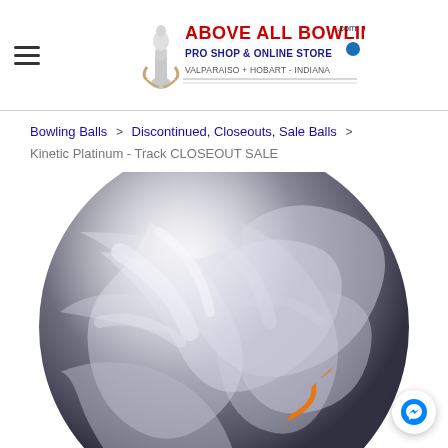Above All Bowling - Pro Shop & Online Store - Valparaiso + Hobart - Indiana
Bowling Balls > Discontinued, Closeouts, Sale Balls > Kinetic Platinum - Track CLOSEOUT SALE
[Figure (photo): Silver/grey pearlescent bowling ball with orange Kinetic logo and orbital design printed on the surface]